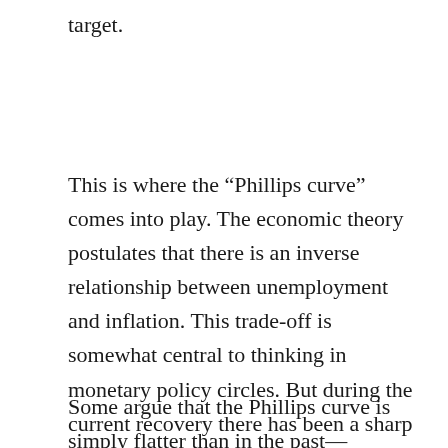target.
This is where the “Phillips curve” comes into play. The economic theory postulates that there is an inverse relationship between unemployment and inflation. This trade-off is somewhat central to thinking in monetary policy circles. But during the current recovery there has been a sharp drop in unemployment without the requisite inflation.
Some argue that the Phillips curve is simply flatter than in the past—meaning that it takes a